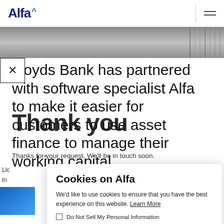Alfa (logo) — navigation bar with hamburger menu
[Figure (photo): Hero image strip showing a building/architectural background, grayscale, with vertical divider line on right]
Lloyds Bank has partnered with software specialist Alfa to make it easier for customers to use asset finance to manage their working capital.
Thank you
Thanks for your request. We'll be in touch soon.
Lloyds
In
Alf
the
fin
[Figure (photo): Blue gradient thumbnail image on lower left]
Cookies on Alfa

We'd like to use cookies to ensure that you have the best experience on this website. Learn More

☐ Do Not Sell My Personal Information

OK